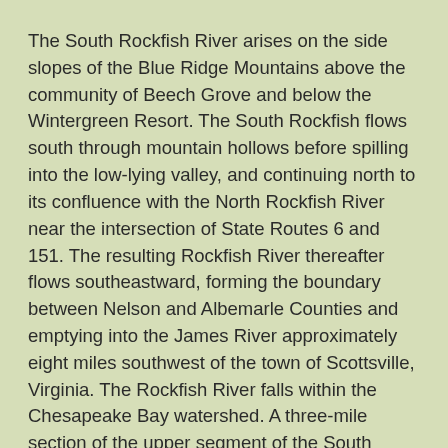The South Rockfish River arises on the side slopes of the Blue Ridge Mountains above the community of Beech Grove and below the Wintergreen Resort. The South Rockfish flows south through mountain hollows before spilling into the low-lying valley, and continuing north to its confluence with the North Rockfish River near the intersection of State Routes 6 and 151. The resulting Rockfish River thereafter flows southeastward, forming the boundary between Nelson and Albemarle Counties and emptying into the James River approximately eight miles southwest of the town of Scottsville, Virginia. The Rockfish River falls within the Chesapeake Bay watershed. A three-mile section of the upper segment of the South Rockfish River is classified as level 5 rapids and traveled by kayakers at high water. A portion of the river is a stocked trout stream. The entire river corridor extends for approximately forty miles.